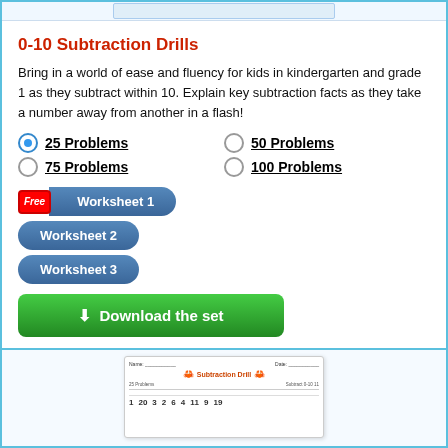[Figure (screenshot): Top bar with a worksheet preview thumbnail]
0-10 Subtraction Drills
Bring in a world of ease and fluency for kids in kindergarten and grade 1 as they subtract within 10. Explain key subtraction facts as they take a number away from another in a flash!
25 Problems (selected)
50 Problems
75 Problems
100 Problems
Free Worksheet 1
Worksheet 2
Worksheet 3
Download the set
[Figure (screenshot): Preview of a Subtraction Drill worksheet with numbers 1, 20, 3, 2, 6, 4, 11, 9, 19]